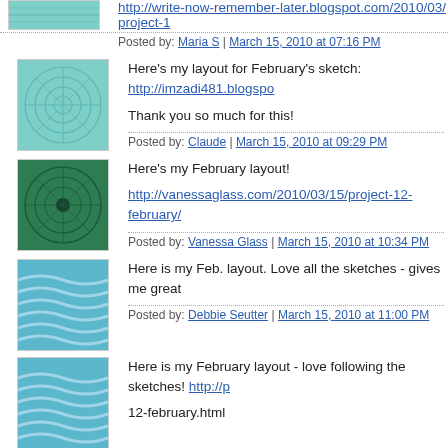http://write-now-remember-later.blogspot.com/2010/03/project-1
Posted by: Maria S | March 15, 2010 at 07:16 PM
Here's my layout for February's sketch: http://imzadi481.blogspot... Thank you so much for this!
Posted by: Claude | March 15, 2010 at 09:29 PM
Here's my February layout!
http://vanessaglass.com/2010/03/15/project-12-february/
Posted by: Vanessa Glass | March 15, 2010 at 10:34 PM
Here is my Feb. layout. Love all the sketches - gives me great
Posted by: Debbie Seutter | March 15, 2010 at 11:00 PM
Here is my February layout - love following the sketches! http://p 12-february.html